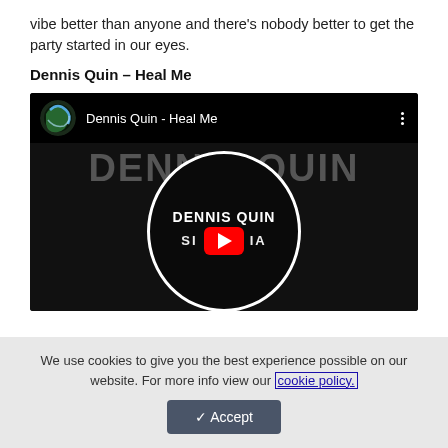vibe better than anyone and there's nobody better to get the party started in our eyes.
Dennis Quin – Heal Me
[Figure (screenshot): YouTube video embed showing 'Dennis Quin - Heal Me' with a circular logo featuring the text 'DENNIS QUIN' and a YouTube play button in the center.]
We use cookies to give you the best experience possible on our website. For more info view our cookie policy.